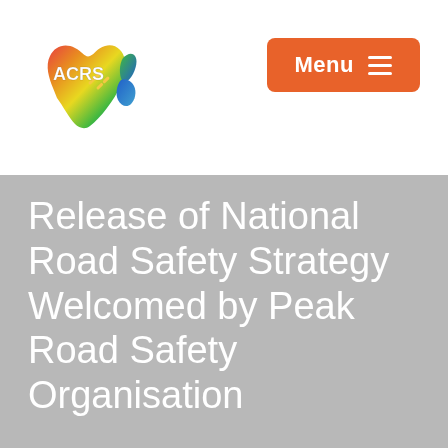[Figure (logo): ACRS logo — colorful Australia/New Zealand map silhouette with 'ACRS' text and road dashes]
[Figure (other): Orange rounded rectangle menu button with 'Menu' text and hamburger icon (three white lines)]
Release of National Road Safety Strategy Welcomed by Peak Road Safety Organisation